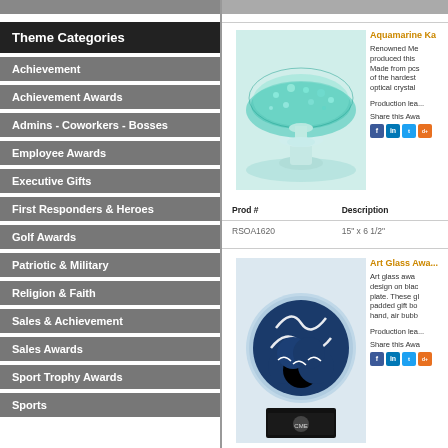Theme Categories
Achievement
Achievement Awards
Admins - Coworkers - Bosses
Employee Awards
Executive Gifts
First Responders & Heroes
Golf Awards
Patriotic & Military
Religion & Faith
Sales & Achievement
Sales Awards
Sport Trophy Awards
Sports
[Figure (photo): Aquamarine Ka award - artistic teal/aquamarine glass sculpture on pedestal]
Aquamarine Ka - Renowned Me... produced this ... Made from pcs... of the hardest ... optical crystal...
Production lea...
Share this Awa...
| Prod # | Description |
| --- | --- |
| RSOA1620 | 15" x 6 1/2" |
[Figure (photo): Art Glass Award - blue and white swirled glass sphere on black base with CME logo]
Art Glass Awa... - Art glass awa... design on blac... plate. These gl... padded gift bo... hand, air bubb...
Production lea...
Share this Awa...